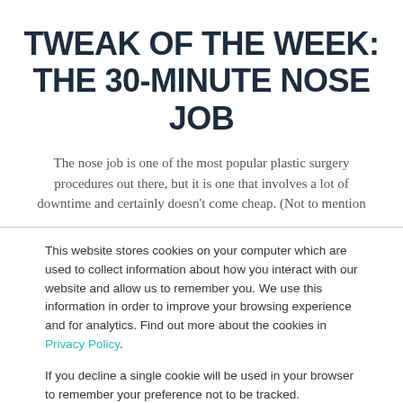TWEAK OF THE WEEK: THE 30-MINUTE NOSE JOB
The nose job is one of the most popular plastic surgery procedures out there, but it is one that involves a lot of downtime and certainly doesn’t come cheap. (Not to mention
This website stores cookies on your computer which are used to collect information about how you interact with our website and allow us to remember you. We use this information in order to improve your browsing experience and for analytics. Find out more about the cookies in Privacy Policy.

If you decline a single cookie will be used in your browser to remember your preference not to be tracked.